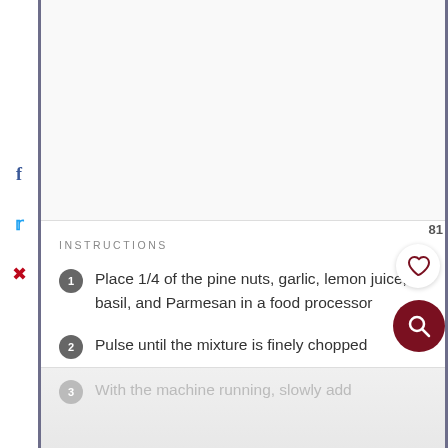[Figure (photo): Upper portion of a recipe page showing a food photo area (cropped/blank)]
INSTRUCTIONS
Place 1/4 of the pine nuts, garlic, lemon juice, basil, and Parmesan in a food processor
Pulse until the mixture is finely chopped
With the machine running, slowly add